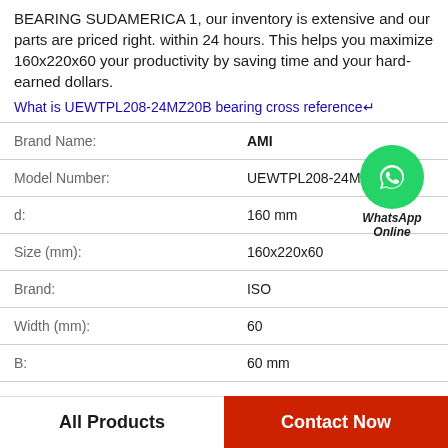BEARING SUDAMERICA 1, our inventory is extensive and our parts are priced right. within 24 hours. This helps you maximize 160x220x60 your productivity by saving time and your hard-earned dollars.
What is UEWTPL208-24MZ20B bearing cross reference↵
| Brand Name: | AMI |
| Model Number: | UEWTPL208-24MZ20B |
| d: | 160 mm |
| Size (mm): | 160x220x60 |
| Brand: | ISO |
| Width (mm): | 60 |
| B: | 60 mm |
[Figure (logo): WhatsApp Online green circle icon with phone handset, labeled WhatsApp Online in italic bold text]
All Products
Contact Now